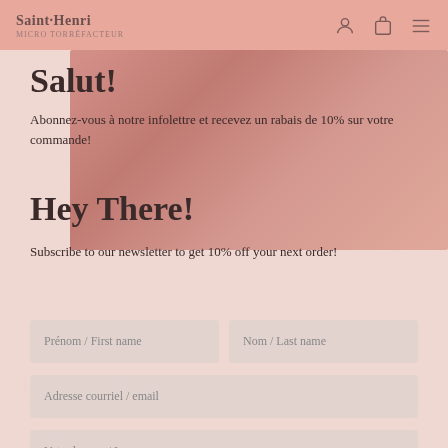Saint·Henri
Salut!
Abonnez-vous à notre infolettre et recevez un rabais de 10% sur votre commande!
Hey There!
Subscribe to our newsletter to get 10% off your next order!
Prénom / First name
Nom / Last name
Adresse courriel / email
Votre langue / Language
S'INSCRIRE / SUBSCRIBE
Préparation
STEP N° 1
Fill your kettle with filtered water and bring to a boil. Place a paper filter in the brewer and rinse it thoroughly to reduce the papery taste. Drain the...